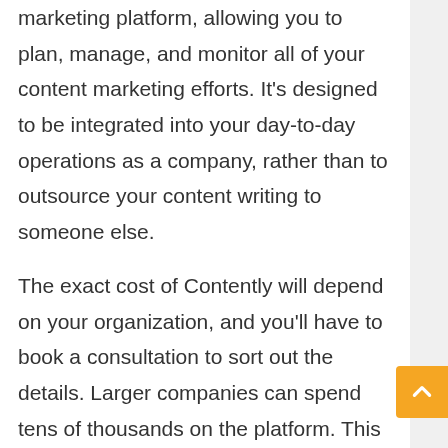marketing platform, allowing you to plan, manage, and monitor all of your content marketing efforts. It's designed to be integrated into your day-to-day operations as a company, rather than to outsource your content writing to someone else.
The exact cost of Contently will depend on your organization, and you'll have to book a consultation to sort out the details. Larger companies can spend tens of thousands on the platform. This cost consists of not only a subscription to the platform itself, but also the cost of hiring freelancers depending on content requirements.